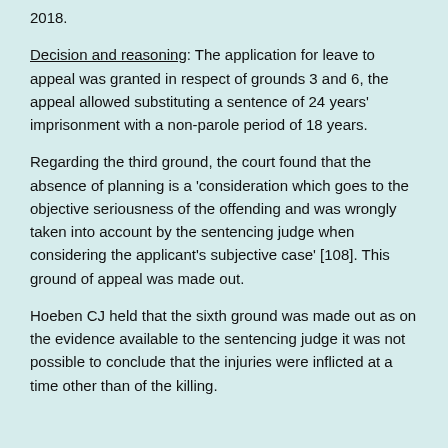2018.
Decision and reasoning: The application for leave to appeal was granted in respect of grounds 3 and 6, the appeal allowed substituting a sentence of 24 years' imprisonment with a non-parole period of 18 years.
Regarding the third ground, the court found that the absence of planning is a 'consideration which goes to the objective seriousness of the offending and was wrongly taken into account by the sentencing judge when considering the applicant's subjective case' [108]. This ground of appeal was made out.
Hoeben CJ held that the sixth ground was made out as on the evidence available to the sentencing judge it was not possible to conclude that the injuries were inflicted at a time other than of the killing.